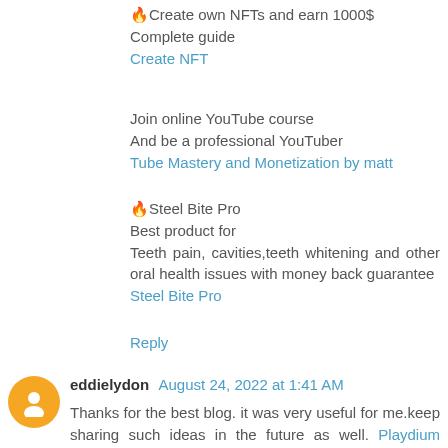🔥Create own NFTs and earn 1000$
Complete guide
Create NFT
Join online YouTube course
And be a professional YouTuber
Tube Mastery and Monetization by matt
🔥Steel Bite Pro
Best product for
Teeth pain, cavities,teeth whitening and other oral health issues with money back guarantee
Steel Bite Pro
Reply
eddielydon  August 24, 2022 at 1:41 AM
Thanks for the best blog. it was very useful for me.keep sharing such ideas in the future as well. Playdium Skate Club Jacket
Reply